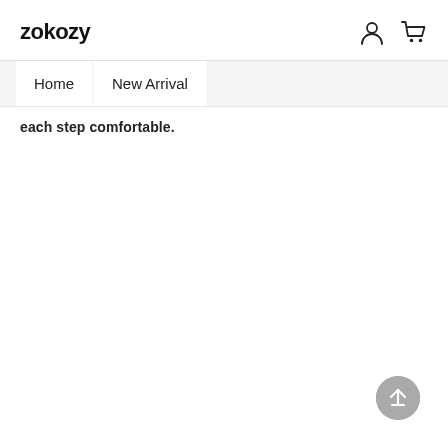zokozy
Home
New Arrival
each step comfortable.
[Figure (illustration): Scroll to top button — circular grey button with upward arrow at bottom right]